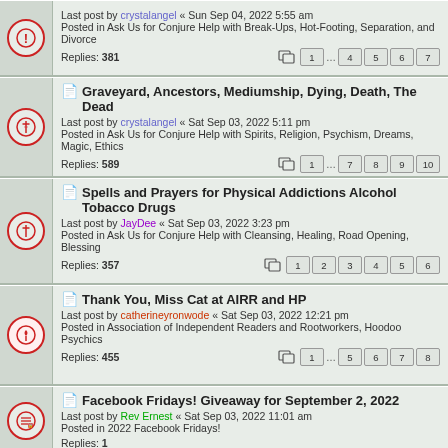Last post by crystalangel « Sun Sep 04, 2022 5:55 am
Posted in Ask Us for Conjure Help with Break-Ups, Hot-Footing, Separation, and Divorce
Replies: 381
Pages: 1 ... 4 5 6 7
Graveyard, Ancestors, Mediumship, Dying, Death, The Dead
Last post by crystalangel « Sat Sep 03, 2022 5:11 pm
Posted in Ask Us for Conjure Help with Spirits, Religion, Psychism, Dreams, Magic, Ethics
Replies: 589
Pages: 1 ... 7 8 9 10
Spells and Prayers for Physical Addictions Alcohol Tobacco Drugs
Last post by JayDee « Sat Sep 03, 2022 3:23 pm
Posted in Ask Us for Conjure Help with Cleansing, Healing, Road Opening, Blessing
Replies: 357
Pages: 1 2 3 4 5 6
Thank You, Miss Cat at AIRR and HP
Last post by catherineyronwode « Sat Sep 03, 2022 12:21 pm
Posted in Association of Independent Readers and Rootworkers, Hoodoo Psychics
Replies: 455
Pages: 1 ... 5 6 7 8
Facebook Fridays! Giveaway for September 2, 2022
Last post by Rev Ernest « Sat Sep 03, 2022 11:01 am
Posted in 2022 Facebook Fridays!
Replies: 1
Mirror Spells and Mirror Box Spells Questions and Answers
Last post by JayDee « Fri Sep 02, 2022 6:41 pm
Posted in Ask Us for Conjure Help with Spirits, Religion, Dreams